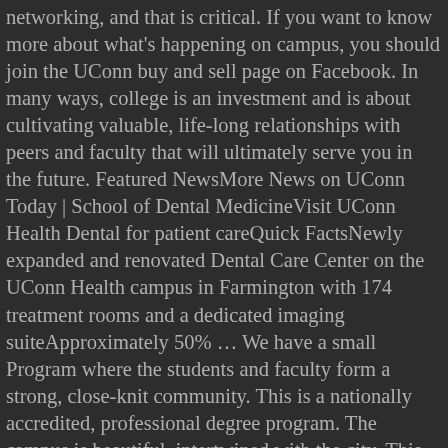networking, and that is critical. If you want to know more about what's happening on campus, you should join the UConn buy and sell page on Facebook. In many ways, college is an investment and is about cultivating valuable, life-long relationships with peers and faculty that will ultimately serve you in the future. Featured NewsMore News on UConn Today | School of Dental MedicineVisit UConn Health Dental for patient careQuick FactsNewly expanded and renovated Dental Care Center on the UConn Health campus in Farmington with 174 treatment rooms and a dedicated imaging suiteApproximately 50% … We have a small Program where the students and faculty form a strong, close-knit community. This is a nationally accredited, professional degree program. The campus is beautiful, intertwined with the city. This STEM expansion includes: A plan to fulfill the language requirement should be worked out early in the student's program in consultation with the Major Advisor. The Connecticut College atmosphere is one that fosters student growth, both academic and personal, and there are an incredible amount of resources at the college to support students in many different ways. There is a basketball arena and ice skating rink on campus. You immediately build a community within your residential college, and can find groups in activities